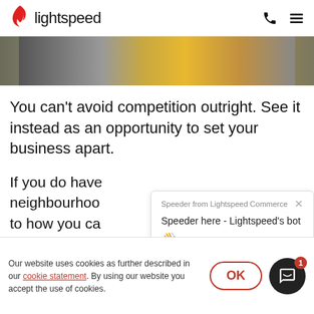lightspeed
[Figure (photo): Partial hero image showing construction or industrial scene with yellow machinery]
You can't avoid competition outright. See it instead as an opportunity to set your business apart.
If you do have neighbourhood… to how you can… local clien…
[Figure (screenshot): Chatbot popup from Speeder - Lightspeed Commerce bot saying 'Speeder here - Lightspeed's bot 👋 How can I help you today?']
Our website uses cookies as further described in our cookie statement. By using our website you accept the use of cookies.